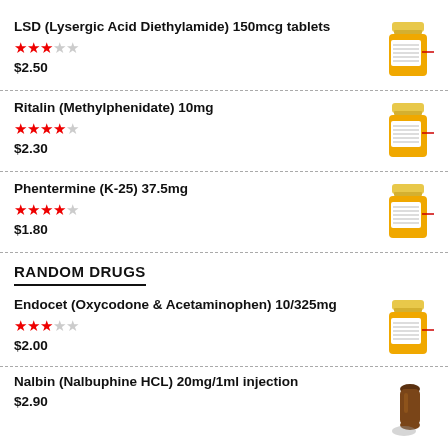LSD (Lysergic Acid Diethylamide) 150mcg tablets
★★★☆☆
$2.50
[Figure (photo): Orange prescription pill bottle with white label]
Ritalin (Methylphenidate) 10mg
★★★★☆
$2.30
[Figure (photo): Orange prescription pill bottle with white label]
Phentermine (K-25) 37.5mg
★★★★☆
$1.80
[Figure (photo): Orange prescription pill bottle with white label]
RANDOM DRUGS
Endocet (Oxycodone & Acetaminophen) 10/325mg
★★★☆☆
$2.00
[Figure (photo): Orange prescription pill bottle with white label]
Nalbin (Nalbuphine HCL) 20mg/1ml injection
$2.90
[Figure (photo): Brown glass medicine bottle with cap]